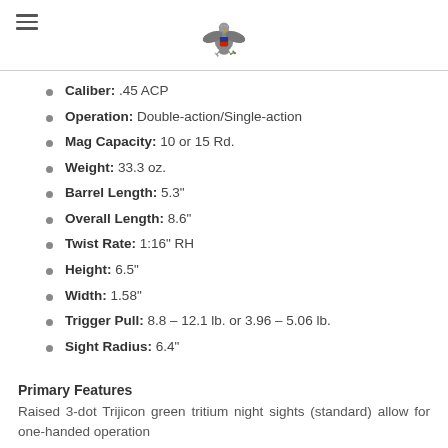[hamburger menu icon] [eagle emblem]
Caliber: .45 ACP
Operation: Double-action/Single-action
Mag Capacity: 10 or 15 Rd.
Weight: 33.3 oz.
Barrel Length: 5.3"
Overall Length: 8.6"
Twist Rate: 1:16" RH
Height: 6.5"
Width: 1.58"
Trigger Pull: 8.8 – 12.1 lb. or 3.96 – 5.06 lb.
Sight Radius: 6.4"
Primary Features
Raised 3-dot Trijicon green tritium night sights (standard) allow for one-handed operation